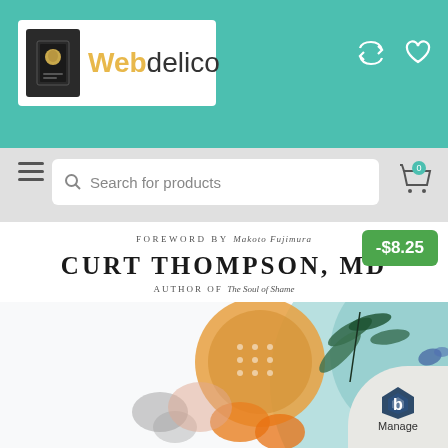[Figure (screenshot): Webdelico online bookstore website screenshot showing logo with book icon, navigation bar with search field, and a book product page for 'Curt Thompson, MD' with foreword by Makoto Fujimura and author of The Soul of Shame, with price badge -$8.25]
Webdelico
Search for products
-$8.25
FOREWORD BY Makoto Fujimura
CURT THOMPSON, MD
AUTHOR OF The Soul of Shame
Manage